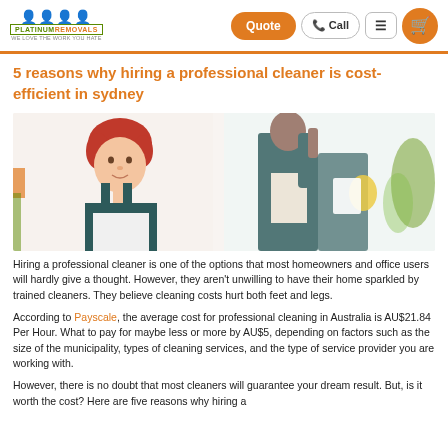Platinum Removals — Quote | Call | Menu | Basket
5 reasons why hiring a professional cleaner is cost-efficient in sydney
[Figure (photo): Two professional cleaners in dark green overalls — a woman with red hair looking at camera on the left, and a man cleaning a window in the background on the right, with a plant visible.]
Hiring a professional cleaner is one of the options that most homeowners and office users will hardly give a thought. However, they aren't unwilling to have their home sparkled by trained cleaners. They believe cleaning costs hurt both feet and legs.
According to Payscale, the average cost for professional cleaning in Australia is AU$21.84 Per Hour. What to pay for maybe less or more by AU$5, depending on factors such as the size of the municipality, types of cleaning services, and the type of service provider you are working with.
However, there is no doubt that most cleaners will guarantee your dream result. But, is it worth the cost? Here are five reasons why hiring a